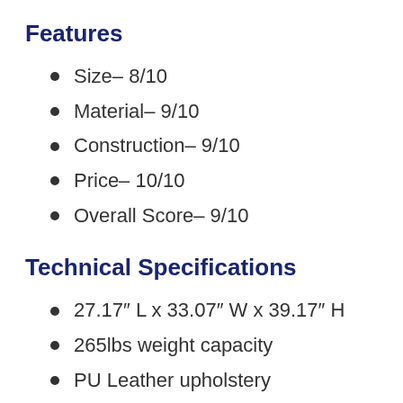Features
Size– 8/10
Material– 9/10
Construction– 9/10
Price– 10/10
Overall Score– 9/10
Technical Specifications
27.17″ L x 33.07″ W x 39.17″ H
265lbs weight capacity
PU Leather upholstery